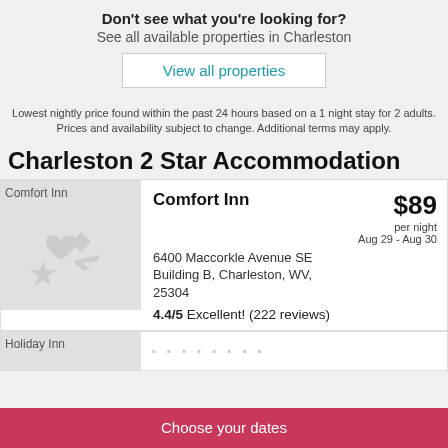Don't see what you're looking for?
See all available properties in Charleston
View all properties
Lowest nightly price found within the past 24 hours based on a 1 night stay for 2 adults. Prices and availability subject to change. Additional terms may apply.
Charleston 2 Star Accommodation
[Figure (photo): Comfort Inn hotel thumbnail placeholder image with icons]
Comfort Inn
6400 Maccorkle Avenue SE Building B, Charleston, WV, 25304
4.4/5 Excellent! (222 reviews)
$89 per night Aug 29 - Aug 30
[Figure (photo): Holiday Inn hotel thumbnail placeholder image (partial)]
Holiday Inn (partial, cut off)
Choose your dates